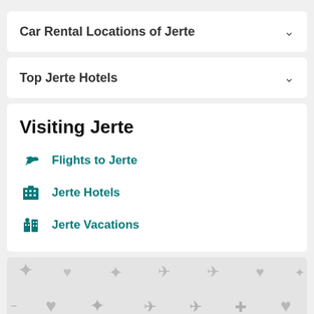Car Rental Locations of Jerte
Top Jerte Hotels
Visiting Jerte
Flights to Jerte
Jerte Hotels
Jerte Vacations
[Figure (map): Map background with travel icons in light gray on a gray background]